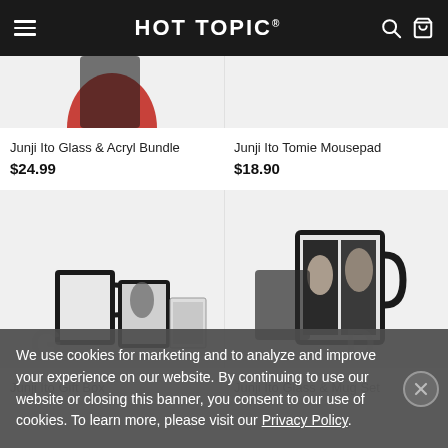HOT TOPIC
Junji Ito Glass & Acryl Bundle
$24.99
Junji Ito Tomie Mousepad
$18.90
[Figure (photo): Junji Ito Gift Box product photo showing mugs and coaster set]
[Figure (photo): Junji Ito Glass & Mug Set product photo]
We use cookies for marketing and to analyze and improve your experience on our website. By continuing to use our website or closing this banner, you consent to our use of cookies. To learn more, please visit our Privacy Policy.
Junji Ito Gift Box
Junji Ito Glass & Mug Set